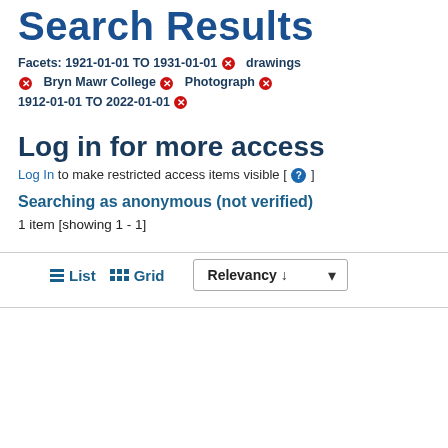Search Results
Facets: 1921-01-01 TO 1931-01-01 ✕   drawings ✕   Bryn Mawr College ✕   Photograph ✕   1912-01-01 TO 2022-01-01 ✕
Log in for more access
Log In to make restricted access items visible [ ? ]
Searching as anonymous (not verified)
1 item [showing 1 - 1]
≡ List  ⊞ Grid   Relevancy ↓